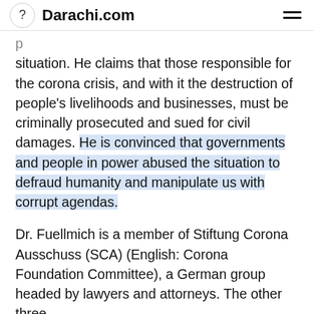? Darachi.com
situation. He claims that those responsible for the corona crisis, and with it the destruction of people's livelihoods and businesses, must be criminally prosecuted and sued for civil damages. He is convinced that governments and people in power abused the situation to defraud humanity and manipulate us with corrupt agendas.
Dr. Fuellmich is a member of Stiftung Corona Ausschuss (SCA) (English: Corona Foundation Committee), a German group headed by lawyers and attorneys. The other three